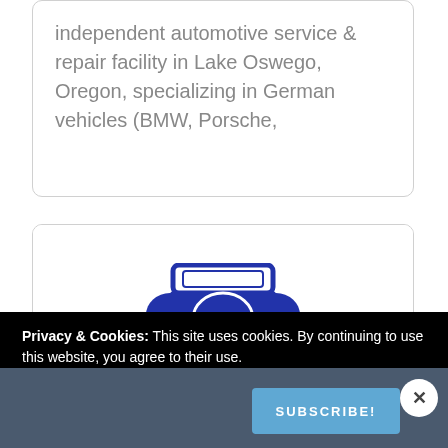independent automotive service & repair facility in Lake Oswego, Oregon, specializing in German vehicles (BMW, Porsche,
[Figure (logo): Don's automotive logo: blue stylized car/vehicle icon with 'DON'S' text visible, partially cropped]
Privacy & Cookies: This site uses cookies. By continuing to use this website, you agree to their use.
Your Email
SUBSCRIBE!